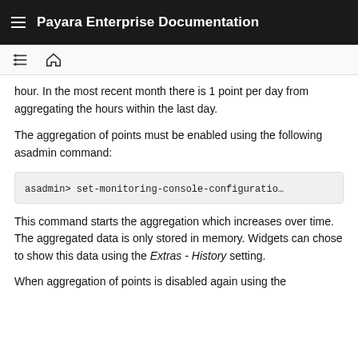Payara Enterprise Documentation
hour. In the most recent month there is 1 point per day from aggregating the hours within the last day.
The aggregation of points must be enabled using the following asadmin command:
asadmin> set-monitoring-console-configuration
This command starts the aggregation which increases over time. The aggregated data is only stored in memory. Widgets can chose to show this data using the Extras - History setting.
When aggregation of points is disabled again using the